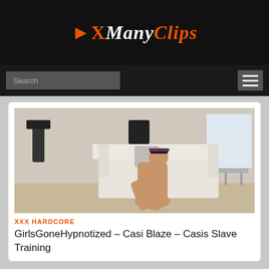[Figure (logo): XManyClips logo with orange X arrow and italic text]
Search
[Figure (screenshot): Photo of a woman in a maid headband seated on a white sofa in a living room]
XXX HARDCORE
GirlsGoneHypnotized – Casi Blaze – Casis Slave Training